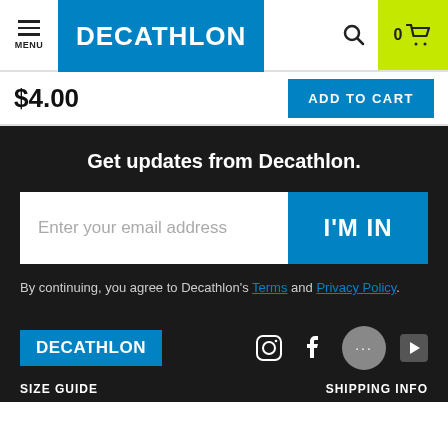MENU | DECATHLON | 0 (cart)
$4.00
ADD TO CART
Get updates from Decathlon.
Enter your email address
I'M IN
By continuing, you agree to Decathlon's Terms and Privacy Policy.
[Figure (logo): Decathlon logo in footer]
SIZE GUIDE
SHIPPING INFO